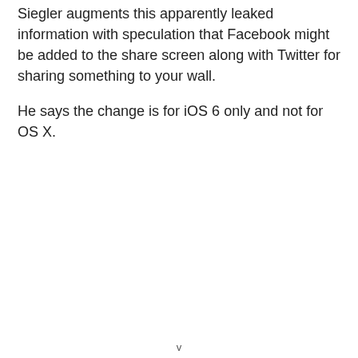Siegler augments this apparently leaked information with speculation that Facebook might be added to the share screen along with Twitter for sharing something to your wall.
He says the change is for iOS 6 only and not for OS X.
v